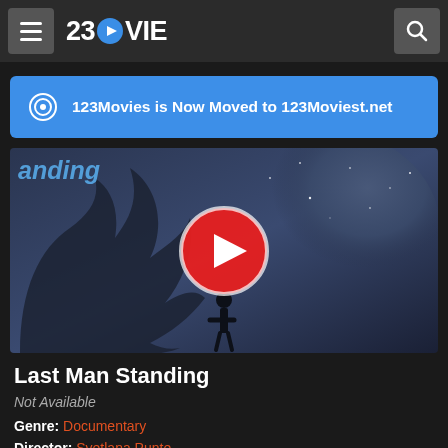123MOVIE
123Movies is Now Moved to 123Moviest.net
[Figure (screenshot): Movie thumbnail for Last Man Standing showing a silhouette of a person standing against a cosmic/atmospheric background with a large play button overlay]
Last Man Standing
Not Available
Genre: Documentary
Director: Svetlana Punte